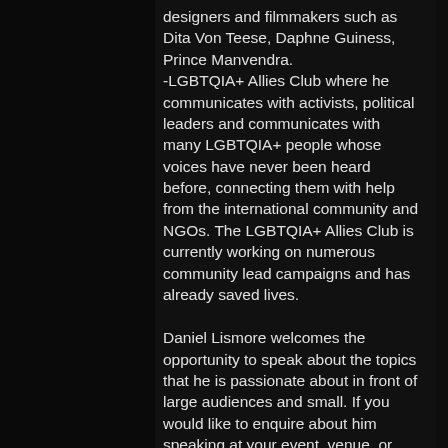designers and filmmakers such as Dita Von Teese, Daphne Guiness, Prince Manvendra.
-LGBTQIA+ Allies Club where he communicates with activists, political leaders and communicates with many LGBTQIA+ people whose voices have never been heard before, connecting them with help from the international community and NGOs. The LGBTQIA+ Allies Club is currently working on numerous community lead campaigns and has already saved lives.

Daniel Lismore welcomes the opportunity to speak about the topics that he is passionate about in front of large audiences and small. If you would like to enquire about him speaking at your event, venue, or educational establishment please